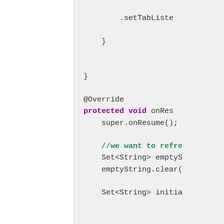[Figure (screenshot): Code editor screenshot showing Java code with two panels. Left panel is white/blank. Right panel shows code with syntax highlighting: closing braces, @Override annotation, protected void onResume method, super.onResume() call, comment about refreshing, Set<String> emptyString declarations, Set<String> initia... declaration, comment about being on, try block with if(!initial_pre...), mDBListPrefsOl... assignment, comment 'this is the', mDBActive = nu... assignment, and another partial line.]